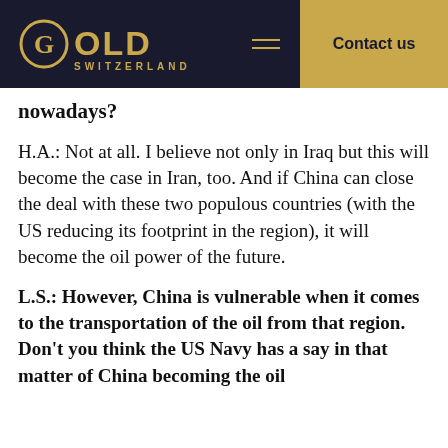Gold Switzerland — Contact us
nowadays?
H.A.: Not at all. I believe not only in Iraq but this will become the case in Iran, too. And if China can close the deal with these two populous countries (with the US reducing its footprint in the region), it will become the oil power of the future.
L.S.: However, China is vulnerable when it comes to the transportation of the oil from that region. Don't you think the US Navy has a say in that matter of China becoming the oil power of the future?